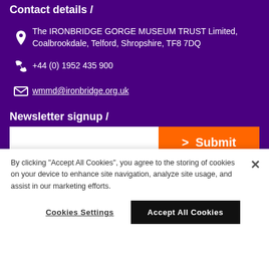Contact details /
The IRONBRIDGE GORGE MUSEUM TRUST Limited, Coalbrookdale, Telford, Shropshire, TF8 7DQ
+44 (0) 1952 435 900
wmmd@ironbridge.org.uk
Newsletter signup /
I have read, understood and accept West Midland Museum...
By clicking "Accept All Cookies", you agree to the storing of cookies on your device to enhance site navigation, analyze site usage, and assist in our marketing efforts.
Cookies Settings
Accept All Cookies